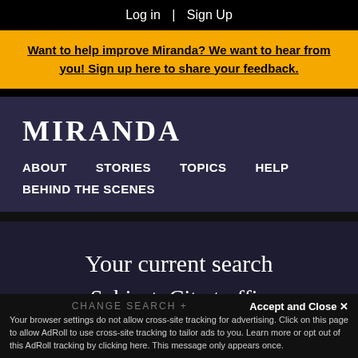Log in  |  Sign Up
Want to help improve Miranda? We want to hear from you! Sign up here to share your feedback.
MIRANDA
ABOUT
STORIES
TOPICS
HELP
BEHIND THE SCENES
Your current search
Subject: City traffic
CHANGE SEARCH +
Accept and Close ✕
Your browser settings do not allow cross-site tracking for advertising. Click on this page to allow AdRoll to use cross-site tracking to tailor ads to you. Learn more or opt out of this AdRoll tracking by clicking here. This message only appears once.